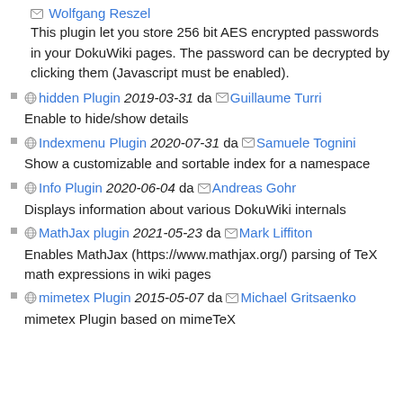Wolfgang Reszel
This plugin let you store 256 bit AES encrypted passwords in your DokuWiki pages. The password can be decrypted by clicking them (Javascript must be enabled).
hidden Plugin 2019-03-31 da Guillaume Turri
Enable to hide/show details
Indexmenu Plugin 2020-07-31 da Samuele Tognini
Show a customizable and sortable index for a namespace
Info Plugin 2020-06-04 da Andreas Gohr
Displays information about various DokuWiki internals
MathJax plugin 2021-05-23 da Mark Liffiton
Enables MathJax (https://www.mathjax.org/) parsing of TeX math expressions in wiki pages
mimetex Plugin 2015-05-07 da Michael Gritsaenko
mimetex Plugin based on mimeTeX